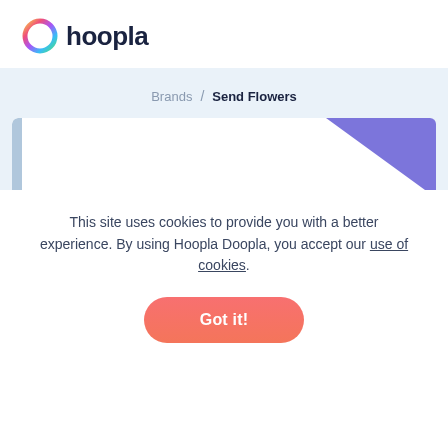[Figure (logo): Hoopla logo: circular rainbow ring icon followed by bold dark text 'hoopla']
Brands / Send Flowers
[Figure (illustration): White card with a purple triangular accent in the top-right corner and a blue-grey tab on the left edge, on a light blue background]
This site uses cookies to provide you with a better experience. By using Hoopla Doopla, you accept our use of cookies.
Got it!